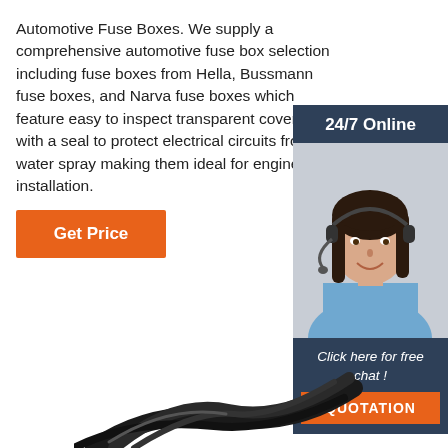Automotive Fuse Boxes. We supply a comprehensive automotive fuse box selection including fuse boxes from Hella, Bussmann fuse boxes, and Narva fuse boxes which feature easy to inspect transparent cover mated with a seal to protect electrical circuits from dust water spray making them ideal for engine installation.
[Figure (photo): A smiling woman wearing a headset with a '24/7 Online' banner at the top and 'Click here for free chat! QUOTATION' at the bottom, displayed in a dark blue sidebar on the right side of the page.]
Get Price
[Figure (photo): Partial image of black automotive cables/wiring at the bottom of the page.]